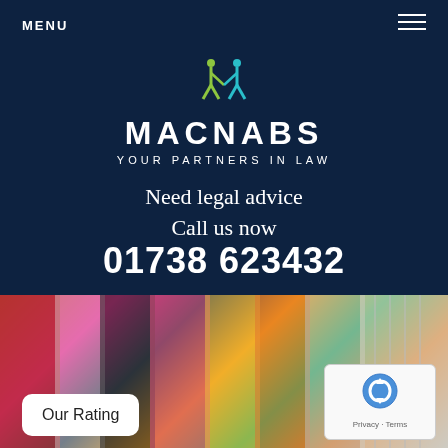MENU
[Figure (logo): Macnabs law firm logo - stylized M in green and teal]
MACNABS
YOUR PARTNERS IN LAW
Need legal advice
Call us now
01738 623432
[Figure (photo): Colorfully painted classical columns with tartan and abstract patterns]
Our Rating
[Figure (logo): reCAPTCHA badge with Privacy and Terms links]